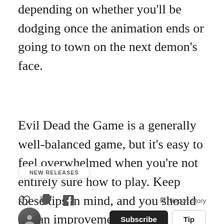depending on whether you'll be dodging once the animation ends or going to town on the next demon's face.
Evil Dead the Game is a generally well-balanced game, but it's easy to feel overwhelmed when you're not entirely sure how to play. Keep these tips in mind, and you should see an improvement.
NEW RELEASES
Report Story | Subscribe | Tip